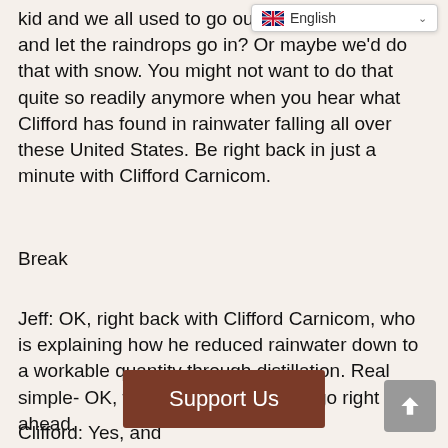kid and we all used to go out with our mouths and let the raindrops go in? Or maybe we'd do that with snow. You might not want to do that quite so readily anymore when you hear what Clifford has found in rainwater falling all over these United States. Be right back in just a minute with Clifford Carnicom.
Break
Jeff: OK, right back with Clifford Carnicom, who is explaining how he reduced rainwater down to a workable quantity through distillation. Real simple- OK, we've got that Clifford- go right ahead.
Clifford: Yes, and that the